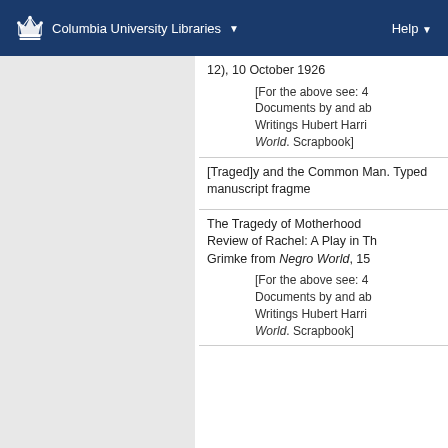Columbia University Libraries   Help
12), 10 October 1926
[For the above see: 4 Documents by and ab Writings Hubert Harri World. Scrapbook]
[Traged]y and the Common Man. Typed manuscript fragme
The Tragedy of Motherhood Review of Rachel: A Play in Th Grimke from Negro World, 15
[For the above see: 4 Documents by and ab Writings Hubert Harri World. Scrapbook]